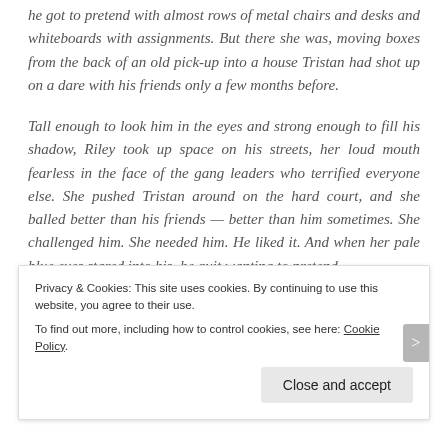he got to pretend with almost rows of metal chairs and desks and whiteboards with assignments. But there she was, moving boxes from the back of an old pick-up into a house Tristan had shot up on a dare with his friends only a few months before.
Tall enough to look him in the eyes and strong enough to fill his shadow, Riley took up space on his streets, her loud mouth fearless in the face of the gang leaders who terrified everyone else. She pushed Tristan around on the hard court, and she balled better than his friends — better than him sometimes. She challenged him. She needed him. He liked it. And when her pale blue eyes stared into his, he quit wanting to pretend.
Privacy & Cookies: This site uses cookies. By continuing to use this website, you agree to their use. To find out more, including how to control cookies, see here: Cookie Policy